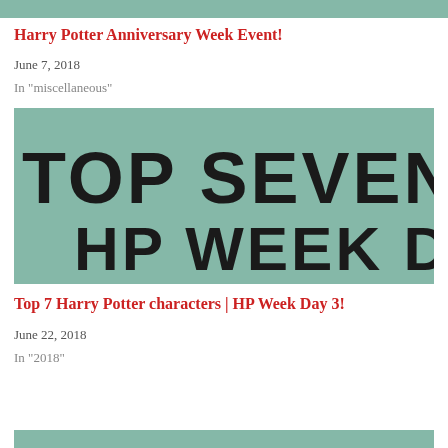[Figure (illustration): Teal/green colored bar at top of page]
Harry Potter Anniversary Week Event!
June 7, 2018
In "miscellaneous"
[Figure (illustration): Teal background image with large bold text reading 'TOP SEVEN CHAR HP WEEK DAY']
Top 7 Harry Potter characters | HP Week Day 3!
June 22, 2018
In "2018"
[Figure (illustration): Teal/green colored bar at bottom of page]